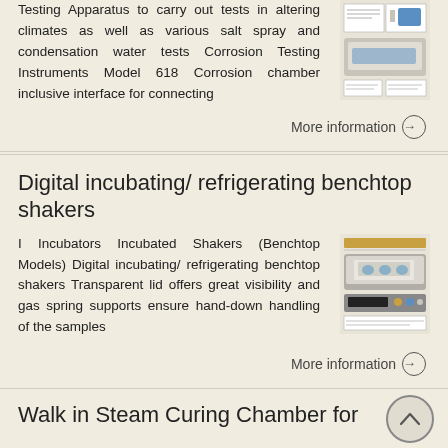Testing Apparatus to carry out tests in altering climates as well as various salt spray and condensation water tests Corrosion Testing Instruments Model 618 Corrosion chamber inclusive interface for connecting
[Figure (photo): Thumbnail image of corrosion testing instrument/chamber]
More information →
Digital incubating/ refrigerating benchtop shakers
I Incubators Incubated Shakers (Benchtop Models) Digital incubating/ refrigerating benchtop shakers Transparent lid offers great visibility and gas spring supports ensure hand-down handling of the samples
[Figure (photo): Thumbnail image of digital incubating/refrigerating benchtop shaker]
More information →
Walk in Steam Curing Chamber for